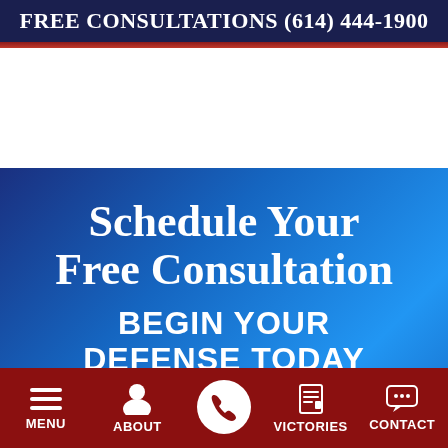FREE CONSULTATIONS (614) 444-1900
Schedule Your Free Consultation
BEGIN YOUR DEFENSE TODAY
[Figure (screenshot): Bottom navigation bar with menu icons: MENU (hamburger), ABOUT (person icon), phone button (circle with phone icon), VICTORIES (document icon), CONTACT (chat bubble icon)]